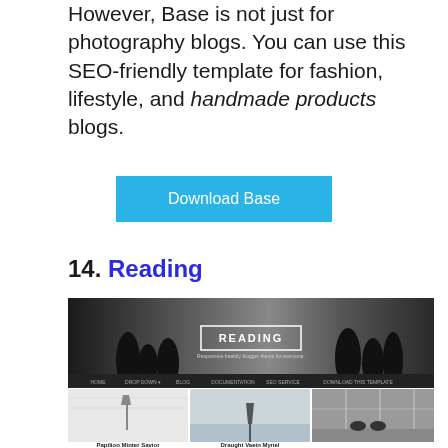However, Base is not just for photography blogs. You can use this SEO-friendly template for fashion, lifestyle, and handmade products blogs.
Download Base
14. Reading
[Figure (screenshot): Screenshot of the 'Reading' Blogger template showing a header with silhouettes of people, navigation bar with HOME, DROP DOWN, BLOG, DOCUMENTATION, SEO SERVICE, DOWNLOAD THIS TEMPLATE, and a grid of article thumbnails with captions 'Papilion Minter Savior' and 'Draught Vaein Mynel']